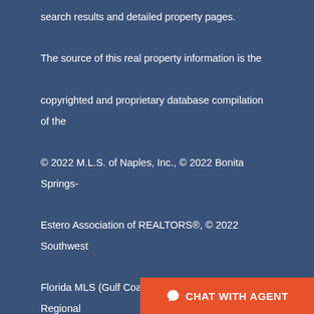search results and detailed property pages. The source of this real property information is the copyrighted and proprietary database compilation of the © 2022 M.L.S. of Naples, Inc., © 2022 Bonita Springs-Estero Association of REALTORS®, © 2022 Southwest Florida MLS (Gulf Coast), © 2022 My Florida Regional MLS DBA Stellar MLS and © 2022 Featured Home Listings, a Florida Real Estate Brokerage. The accuracy of this information is not warranted or guaranteed. This information should be independently verified if any person intends to engage i...
CHAT WITH AGENT